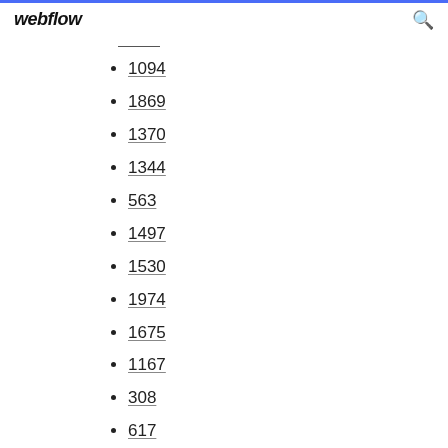webflow
1094
1869
1370
1344
563
1497
1530
1974
1675
1167
308
617